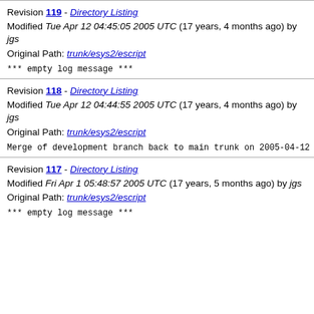Revision 119 - Directory Listing
Modified Tue Apr 12 04:45:05 2005 UTC (17 years, 4 months ago) by jgs
Original Path: trunk/esys2/escript
*** empty log message ***
Revision 118 - Directory Listing
Modified Tue Apr 12 04:44:55 2005 UTC (17 years, 4 months ago) by jgs
Original Path: trunk/esys2/escript
Merge of development branch back to main trunk on 2005-04-12
Revision 117 - Directory Listing
Modified Fri Apr 1 05:48:57 2005 UTC (17 years, 5 months ago) by jgs
Original Path: trunk/esys2/escript
*** empty log message ***